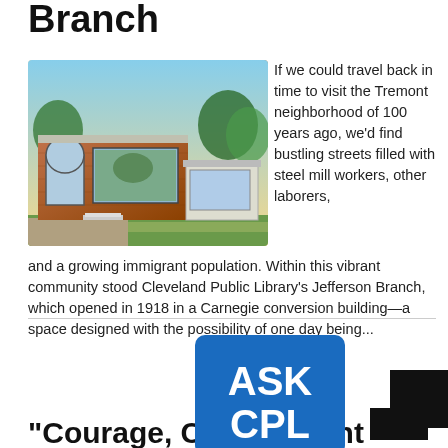Branch
[Figure (photo): Architectural rendering of a modern library branch building with brick facade, arched window, and glass annex, surrounded by trees and greenery]
If we could travel back in time to visit the Tremont neighborhood of 100 years ago, we'd find bustling streets filled with steel mill workers, other laborers, and a growing immigrant population. Within this vibrant community stood Cleveland Public Library's Jefferson Branch, which opened in 1918 in a Carnegie conversion building—a space designed with the possibility of one day being...
[Figure (logo): ASK CPL logo — blue speech bubble with white bold text reading ASK CPL]
“Courage, Commitment